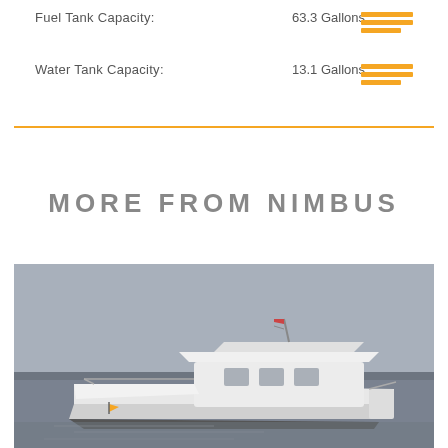Fuel Tank Capacity: 63.3 Gallons
Water Tank Capacity: 13.1 Gallons
MORE FROM NIMBUS
[Figure (photo): A white motor yacht (Nimbus) sailing on calm water with a grey overcast sky in the background.]